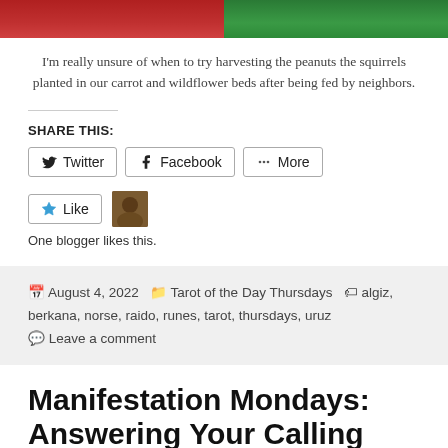[Figure (photo): Partial top view of two images side by side — red flowers on the left and green foliage on the right]
I'm really unsure of when to try harvesting the peanuts the squirrels planted in our carrot and wildflower beds after being fed by neighbors.
SHARE THIS:
Twitter  Facebook  More
[Figure (other): Like button and blogger avatar thumbnail]
One blogger likes this.
August 4, 2022  Tarot of the Day Thursdays  algiz, berkana, norse, raido, runes, tarot, thursdays, uruz  Leave a comment
Manifestation Mondays: Answering Your Calling